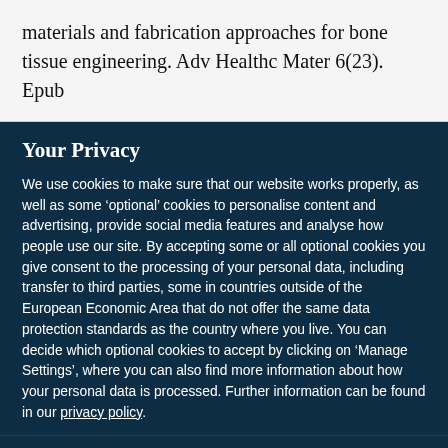materials and fabrication approaches for bone tissue engineering. Adv Healthc Mater 6(23). Epub
Your Privacy
We use cookies to make sure that our website works properly, as well as some ‘optional’ cookies to personalise content and advertising, provide social media features and analyse how people use our site. By accepting some or all optional cookies you give consent to the processing of your personal data, including transfer to third parties, some in countries outside of the European Economic Area that do not offer the same data protection standards as the country where you live. You can decide which optional cookies to accept by clicking on ‘Manage Settings’, where you can also find more information about how your personal data is processed. Further information can be found in our privacy policy.
Accept all cookies
Manage preferences